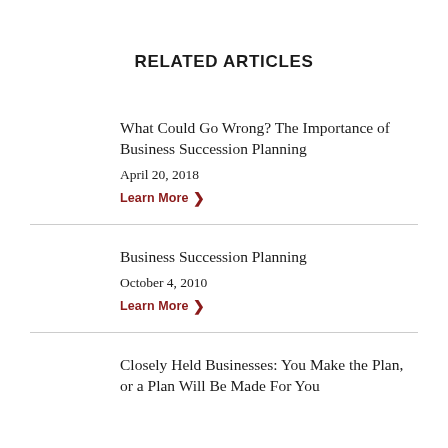RELATED ARTICLES
What Could Go Wrong? The Importance of Business Succession Planning
April 20, 2018
Learn More ❯
Business Succession Planning
October 4, 2010
Learn More ❯
Closely Held Businesses: You Make the Plan, or a Plan Will Be Made For You